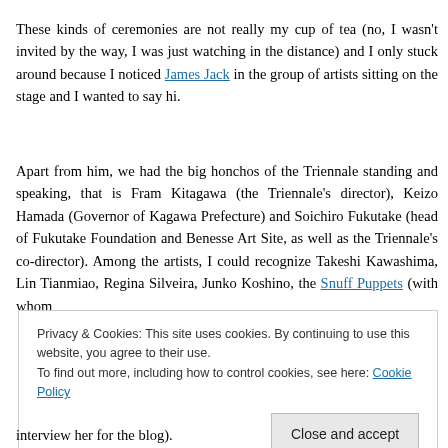These kinds of ceremonies are not really my cup of tea (no, I wasn't invited by the way, I was just watching in the distance) and I only stuck around because I noticed James Jack in the group of artists sitting on the stage and I wanted to say hi.
Apart from him, we had the big honchos of the Triennale standing and speaking, that is Fram Kitagawa (the Triennale's director), Keizo Hamada (Governor of Kagawa Prefecture) and Soichiro Fukutake (head of Fukutake Foundation and Benesse Art Site, as well as the Triennale's co-director). Among the artists, I could recognize Takeshi Kawashima, Lin Tianmiao, Regina Silveira, Junko Koshino, the Snuff Puppets (with whom
Privacy & Cookies: This site uses cookies. By continuing to use this website, you agree to their use.
To find out more, including how to control cookies, see here: Cookie Policy
Close and accept
interview her for the blog).